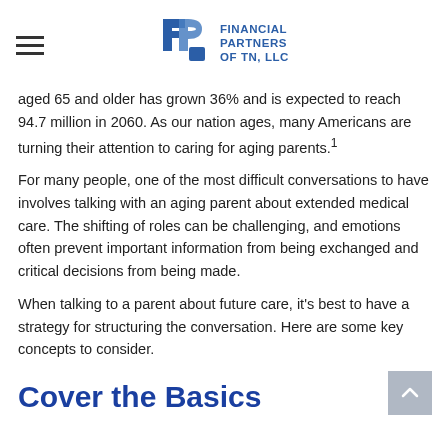Financial Partners of TN, LLC
aged 65 and older has grown 36% and is expected to reach 94.7 million in 2060. As our nation ages, many Americans are turning their attention to caring for aging parents.¹
For many people, one of the most difficult conversations to have involves talking with an aging parent about extended medical care. The shifting of roles can be challenging, and emotions often prevent important information from being exchanged and critical decisions from being made.
When talking to a parent about future care, it's best to have a strategy for structuring the conversation. Here are some key concepts to consider.
Cover the Basics